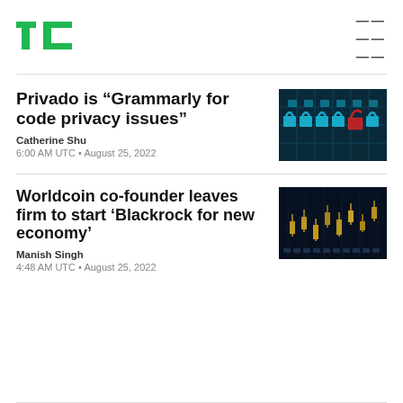TechCrunch
Privado is “Grammarly for code privacy issues”
Catherine Shu
6:00 AM UTC • August 25, 2022
[Figure (photo): Padlocks with one red open padlock among blue locked padlocks on a circuit board background]
Worldcoin co-founder leaves firm to start ‘Blackrock for new economy’
Manish Singh
4:48 AM UTC • August 25, 2022
[Figure (photo): Dark tech/crypto themed image with golden circuit elements and charts]